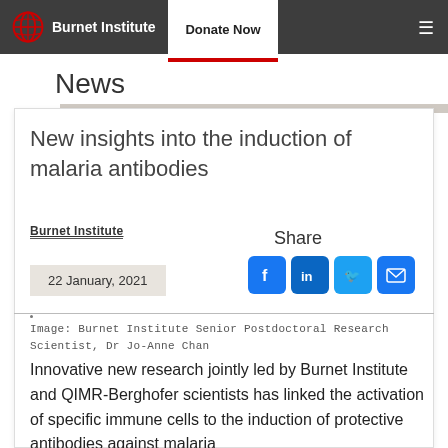Burnet Institute | Donate Now
News
New insights into the induction of malaria antibodies
Burnet Institute
Share
22 January, 2021
Image: Burnet Institute Senior Postdoctoral Research Scientist, Dr Jo-Anne Chan
Innovative new research jointly led by Burnet Institute and QIMR-Berghofer scientists has linked the activation of specific immune cells to the induction of protective antibodies against malaria